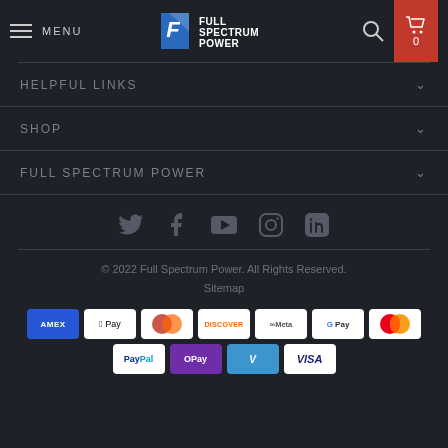MENU | Full Spectrum Power | Search | Cart 0
HELPFUL LINKS
SHOP
FULL SPECTRUM POWER
[Figure (infographic): Social media icons: Twitter, Facebook, YouTube, Instagram, LinkedIn]
© 2022 Full Spectrum Power. All Rights Reserved. Sitemap
[Figure (infographic): Payment method badges: AMEX, Apple Pay, Diners Club, Discover, Meta Pay, Google Pay, Mastercard, PayPal, OPay, Venmo, Visa]